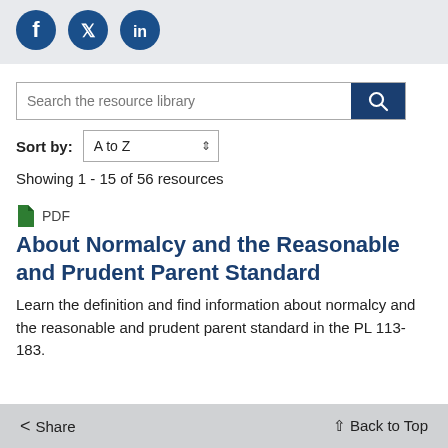[Figure (infographic): Social media share icons: Facebook, Twitter, LinkedIn on a light grey background]
Search the resource library
Sort by: A to Z
Showing 1 - 15 of 56 resources
PDF
About Normalcy and the Reasonable and Prudent Parent Standard
Learn the definition and find information about normalcy and the reasonable and prudent parent standard in the PL 113-183.
< Share   ↑ Back to Top